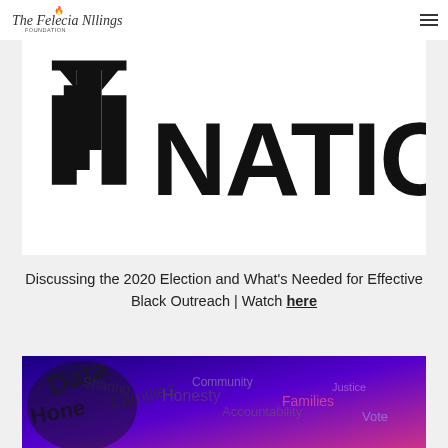The Felecia Nlings Foundation
[Figure (logo): Large black logo with stylized letters and the word NATION]
Discussing the 2020 Election and What's Needed for Effective Black Outreach | Watch here
[Figure (photo): Blue and purple toned image with word cloud including Data, Honesty, Families, Sharing, and other text]